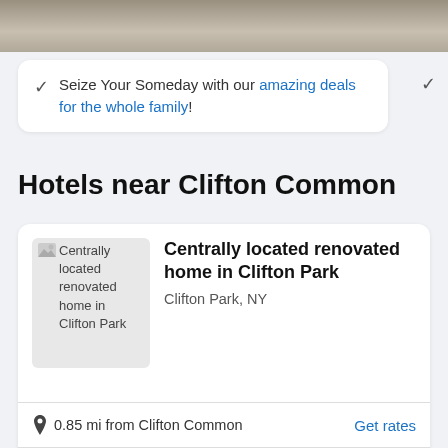[Figure (photo): Top portion of a hotel room photo, showing a bed with light-colored bedding and flooring.]
Seize Your Someday with our amazing deals for the whole family!
Hotels near Clifton Common
[Figure (photo): Thumbnail image placeholder for 'Centrally located renovated home in Clifton Park']
Centrally located renovated home in Clifton Park
Clifton Park, NY
0.85 mi from Clifton Common
Get rates
Show details